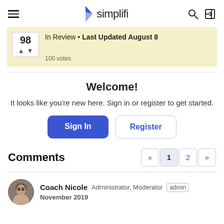simplifi — navigation header with hamburger menu, logo, search and login icons
In Review • Last Updated August 8 — 98 votes (100 votes)
Welcome!
It looks like you're new here. Sign in or register to get started.
Sign In | Register
Comments
Coach Nicole   Administrator, Moderator   admin
November 2019